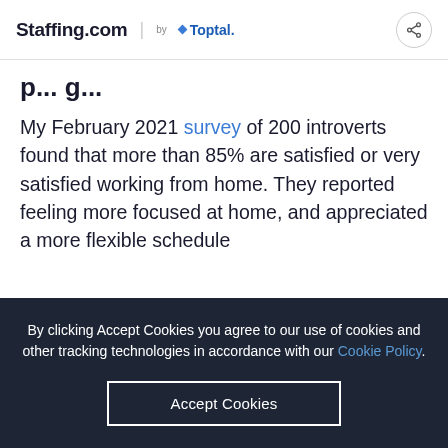Staffing.com by Toptal
My February 2021 survey of 200 introverts found that more than 85% are satisfied or very satisfied working from home. They reported feeling more focused at home, and appreciated a more flexible schedule
By clicking Accept Cookies you agree to our use of cookies and other tracking technologies in accordance with our Cookie Policy.
Accept Cookies